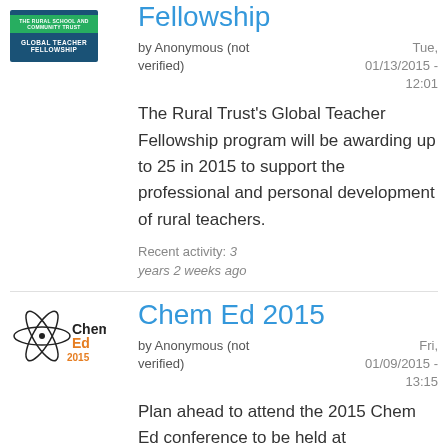[Figure (logo): The Rural School and Community Trust - Global Teacher Fellowship logo]
Fellowship
by Anonymous (not verified)
Tue, 01/13/2015 - 12:01
The Rural Trust's Global Teacher Fellowship program will be awarding up to 25 in 2015 to support the professional and personal development of rural teachers.
Recent activity: 3 years 2 weeks ago
[Figure (logo): Chem Ed 2015 logo with atom graphic]
Chem Ed 2015
by Anonymous (not verified)
Fri, 01/09/2015 - 13:15
Plan ahead to attend the 2015 Chem Ed conference to be held at